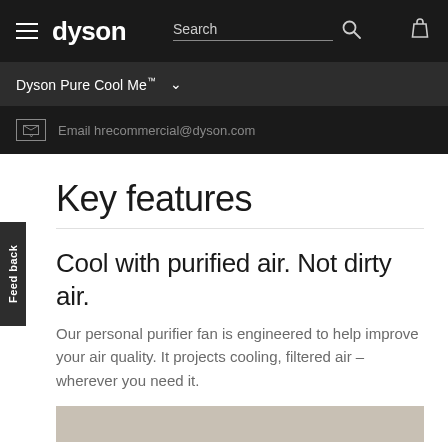[Figure (screenshot): Dyson website navigation bar with hamburger menu, Dyson logo, Search input, search icon, and bag icon on black background]
Dyson Pure Cool Me™
Email hrecommercial@dyson.com
Key features
Cool with purified air. Not dirty air.
Our personal purifier fan is engineered to help improve your air quality. It projects cooling, filtered air – wherever you need it.